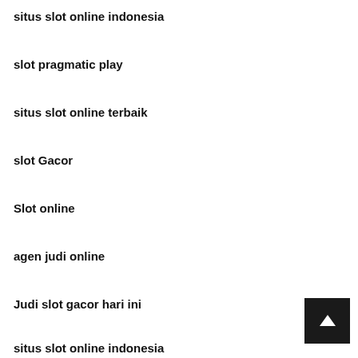situs slot online indonesia
slot pragmatic play
situs slot online terbaik
slot Gacor
Slot online
agen judi online
Judi slot gacor hari ini
situs slot online indonesia